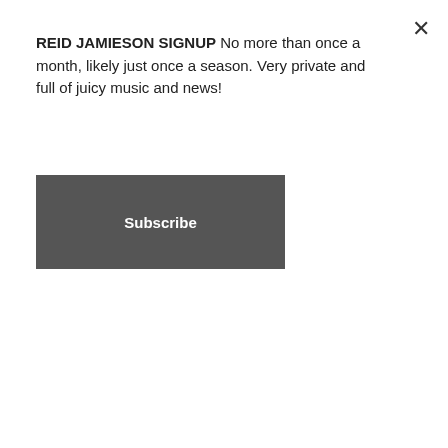REID JAMIESON SIGNUP No more than once a month, likely just once a season. Very private and full of juicy music and news!
Subscribe
On the gig swing-o-meter, 'Monday – Royal Albert Hall; Wednesday – Leytonstone Ex-Serviceman's Club' may take some beating. Jackson Browne's tenth and triumphant return to the Kensington landmark may still be ringing in my ears, but the beauty of writing for Folk Radio UK is that it takes